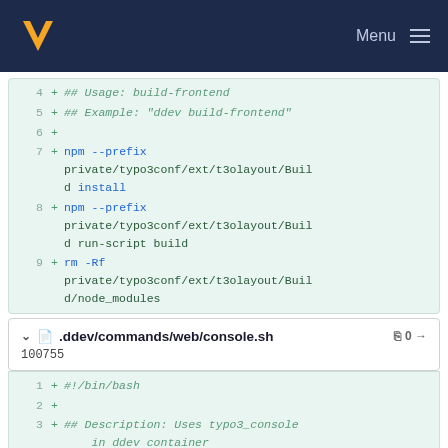Menu
[Figure (screenshot): Code diff block showing lines 4-9 with added lines including npm commands and rm command for t3olayout build process]
.ddev/commands/web/console.sh  0→  100755
[Figure (screenshot): Code diff block showing lines 1-3 of console.sh with #!/bin/bash and description comment]